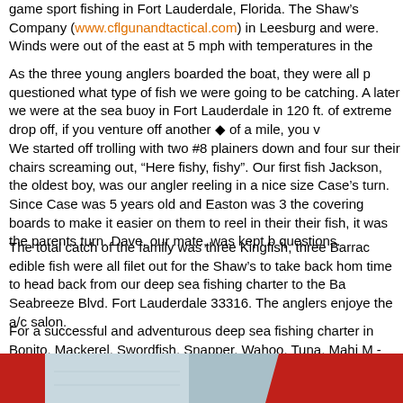game sport fishing in Fort Lauderdale, Florida. The Shaw’s Company (www.cflgunandtactical.com) in Leesburg and were. Winds were out of the east at 5 mph with temperatures in the
As the three young anglers boarded the boat, they were all p questioned what type of fish we were going to be catching. A later we were at the sea buoy in Fort Lauderdale in 120 ft. of extreme drop off, if you venture off another ◆ of a mile, you v
We started off trolling with two #8 plainers down and four sur their chairs screaming out, “Here fishy, fishy”. Our first fish Jackson, the oldest boy, was our angler reeling in a nice size Case’s turn. Since Case was 5 years old and Easton was 3 the covering boards to make it easier on them to reel in their their fish, it was the parents turn. Dave, our mate, was kept b questions.
The total catch of the family was three Kingfish, three Barrac edible fish were all filet out for the Shaw’s to take back hom time to head back from our deep sea fishing charter to the Ba Seabreeze Blvd. Fort Lauderdale 33316. The anglers enjoye the a/c salon.
For a successful and adventurous deep sea fishing charter in Bonito, Mackerel, Swordfish, Snapper, Wahoo, Tuna, Mahi M - 954-309-7457 or email us at tzsak@bellsouth.net Website:
[Figure (photo): Bottom strip showing a partial photograph with red and blue/grey tones, appears to be a boat or fishing scene]